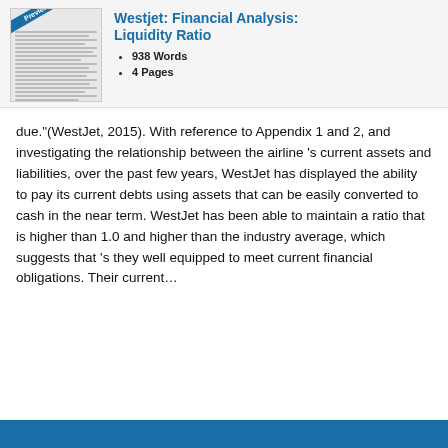Westjet: Financial Analysis: Liquidity Ratio
938 Words
4 Pages
due."(WestJet, 2015). With reference to Appendix 1 and 2, and investigating the relationship between the airline 's current assets and liabilities, over the past few years, WestJet has displayed the ability to pay its current debts using assets that can be easily converted to cash in the near term. WestJet has been able to maintain a ratio that is higher than 1.0 and higher than the industry average, which suggests that 's they well equipped to meet current financial obligations. Their current…